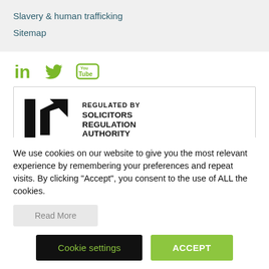Slavery & human trafficking
Sitemap
[Figure (logo): Social media icons: LinkedIn (in), Twitter (bird), YouTube]
[Figure (logo): Regulated by Solicitors Regulation Authority logo with arrow icon]
We use cookies on our website to give you the most relevant experience by remembering your preferences and repeat visits. By clicking “Accept”, you consent to the use of ALL the cookies.
Read More
Cookie settings
ACCEPT